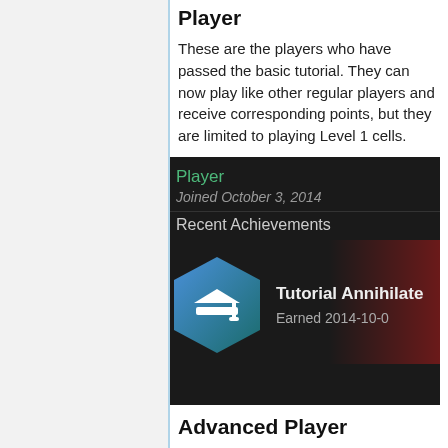Player
These are the players who have passed the basic tutorial. They can now play like other regular players and receive corresponding points, but they are limited to playing Level 1 cells.
[Figure (screenshot): Screenshot of a game profile page showing 'Player' label in green, 'Joined October 3, 2014', 'Recent Achievements' section, and a hexagonal badge with a graduation cap icon labeled 'Tutorial Annihilate' with 'Earned 2014-10-0...']
Advanced Player
These are the players who have passed the Lightning tutorial and have access to